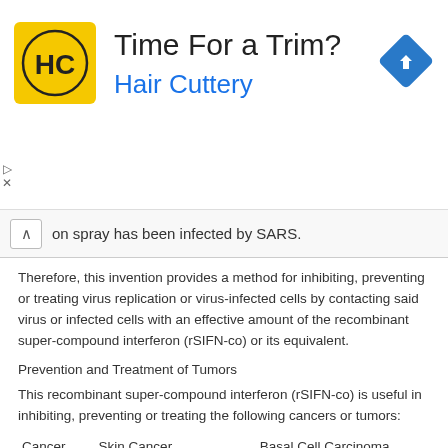[Figure (advertisement): Hair Cuttery advertisement banner with yellow HC logo, title 'Time For a Trim?' and subtitle 'Hair Cuttery' in blue, plus a blue diamond navigation arrow icon on the right]
on spray has been infected by SARS.
Therefore, this invention provides a method for inhibiting, preventing or treating virus replication or virus-infected cells by contacting said virus or infected cells with an effective amount of the recombinant super-compound interferon (rSIFN-co) or its equivalent.
Prevention and Treatment of Tumors
This recombinant super-compound interferon (rSIFN-co) is useful in inhibiting, preventing or treating the following cancers or tumors:
|  |  |  |
| --- | --- | --- |
| Cancer | Skin Cancer | Basal Cell Carcinoma |
|  |  | Malignant Melanoma |
|  | Renal cell carcinoma |  |
|  | Liver Cancer |  |
|  | Thyroid Cancer |  |
|  | Rhinopharyngeal Cancer |  |
|  | Solid Carcinoma | Prostate Cancer |